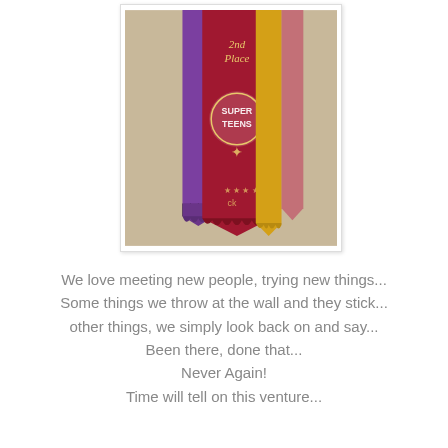[Figure (photo): A photograph of award ribbons — a large red ribbon in the center (labeled '2nd Place'), a purple ribbon on the left, and a yellow/gold ribbon on the right. The red ribbon features an emblem and decorative elements. The ribbons have scalloped/zigzag bottom edges.]
We love meeting new people, trying new things...
Some things we throw at the wall and they stick...
other things, we simply look back on and say...
Been there, done that...
Never Again!
Time will tell on this venture...